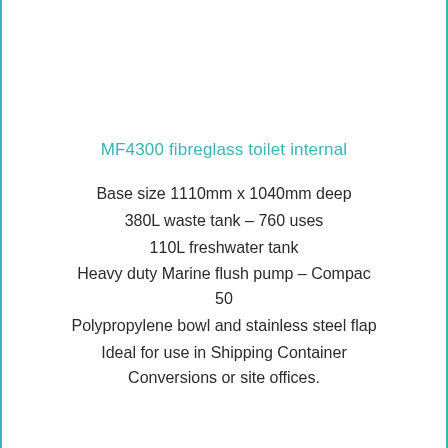MF4300 fibreglass toilet internal
Base size 1110mm x 1040mm deep
380L waste tank – 760 uses
110L freshwater tank
Heavy duty Marine flush pump – Compac 50
Polypropylene bowl and stainless steel flap
Ideal for use in Shipping Container Conversions or site offices.